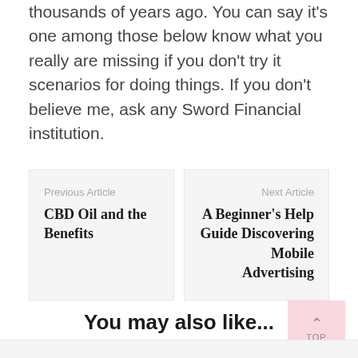thousands of years ago. You can say it's one among those below know what you really are missing if you don't try it scenarios for doing things. If you don't believe me, ask any Sword Financial institution.
Previous Article
CBD Oil and the Benefits
Next Article
A Beginner's Help Guide Discovering Mobile Advertising
You may also like...